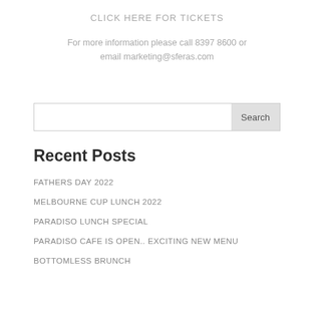CLICK HERE FOR TICKETS
For more information please call 8397 8600 or email marketing@sferas.com
[Figure (other): Search input box with Search button]
Recent Posts
FATHERS DAY 2022
MELBOURNE CUP LUNCH 2022
PARADISO LUNCH SPECIAL
PARADISO CAFE IS OPEN.. EXCITING NEW MENU
BOTTOMLESS BRUNCH